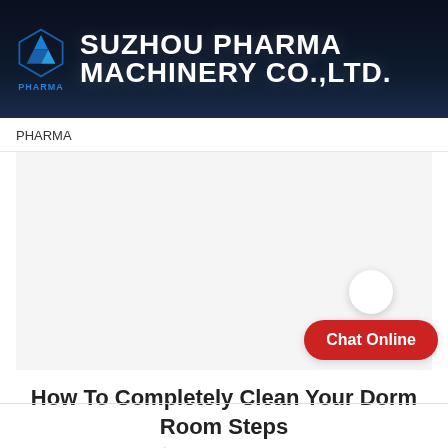[Figure (logo): Suzhou Pharma Machinery Co.,Ltd. company header banner with logo (blue diamond/arrow icon) and company name in white bold text on dark navy background]
PHARMA
[Figure (photo): Large blank/white image placeholder area for article image]
How To Completely Clean Your Dorm Room Steps
by PHARMA   2021-01-05
[Figure (infographic): Chat Online button (red rounded rectangle) with a white circle icon above it, positioned bottom-right]